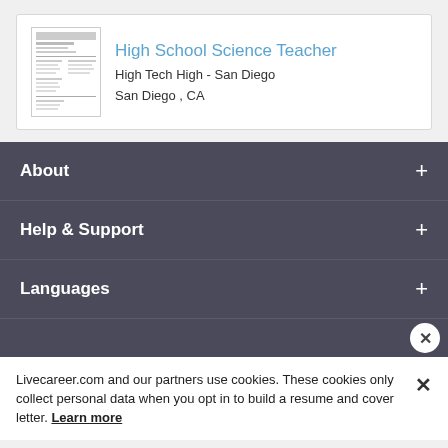[Figure (screenshot): Resume thumbnail image for High School Science Teacher]
High School Science Teacher
High Tech High - San Diego
San Diego , CA
About
Help & Support
Languages
Livecareer.com and our partners use cookies. These cookies only collect personal data when you opt in to build a resume and cover letter. Learn more